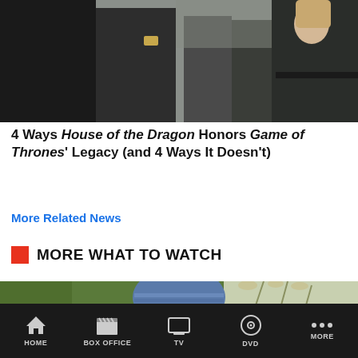[Figure (photo): Scene from House of the Dragon showing characters in dark medieval costumes standing outdoors in a misty setting]
4 Ways House of the Dragon Honors Game of Thrones' Legacy (and 4 Ways It Doesn't)
More Related News
MORE WHAT TO WATCH
[Figure (photo): Close-up of a woman wearing a blue headscarf outdoors with green plants in background]
HOME | BOX OFFICE | TV | DVD | MORE